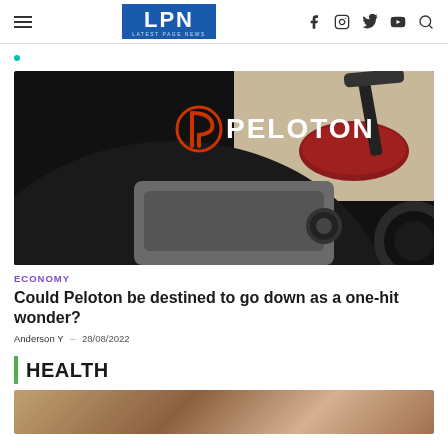LPN LATEST PAGE NEWS
[Figure (photo): Close-up photo of a black Peloton stationary bike showing the Peloton logo in red and the word PELOTON in white letters on the frame, with a red seat and handlebar visible in the background against a beige carpet.]
ECONOMY
Could Peloton be destined to go down as a one-hit wonder?
Anderson Y  –  28/08/2022
HEALTH
[Figure (photo): Partial view of a photo at the bottom of the page, cut off.]